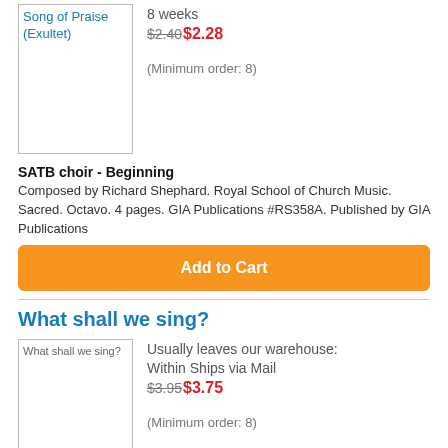[Figure (photo): Product image placeholder for Song of Praise (Exultet) with blue link text]
8 weeks
$2.40 $2.28
(Minimum order: 8)
SATB choir - Beginning
Composed by Richard Shephard. Royal School of Church Music. Sacred. Octavo. 4 pages. GIA Publications #RS358A. Published by GIA Publications
Add to Cart
What shall we sing?
[Figure (photo): Product image for What shall we sing? with broken image icon]
Usually leaves our warehouse:
Within Ships via Mail
$3.95 $3.75
(Minimum order: 8)
SATB choir & organ (SATB) - Very Easy to Easy
Composed by Richard Shephard. Christmas Songs & Carols - Mixed Voices. Christmas. Choral Leaflet. Vocal score. 8 pages. Duration 3l. Oxford University...